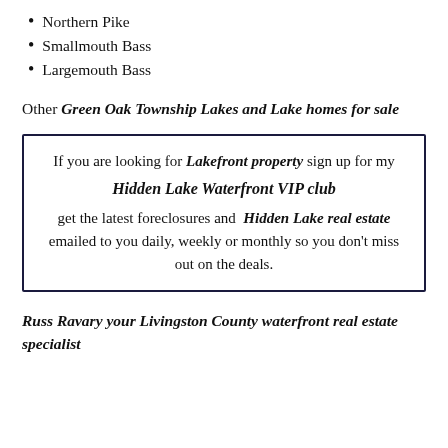Northern Pike
Smallmouth Bass
Largemouth Bass
Other Green Oak Township Lakes and Lake homes for sale
If you are looking for Lakefront property sign up for my Hidden Lake Waterfront VIP club get the latest foreclosures and Hidden Lake real estate emailed to you daily, weekly or monthly so you don't miss out on the deals.
Russ Ravary your Livingston County waterfront real estate specialist